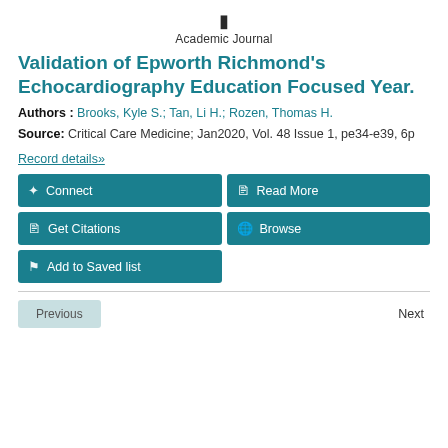Academic Journal
Validation of Epworth Richmond's Echocardiography Education Focused Year.
Authors : Brooks, Kyle S.; Tan, Li H.; Rozen, Thomas H.
Source: Critical Care Medicine; Jan2020, Vol. 48 Issue 1, pe34-e39, 6p
Record details»
[Figure (other): Four action buttons in teal: Connect, Read More, Get Citations, Browse; and one button: Add to Saved list]
Previous  Next